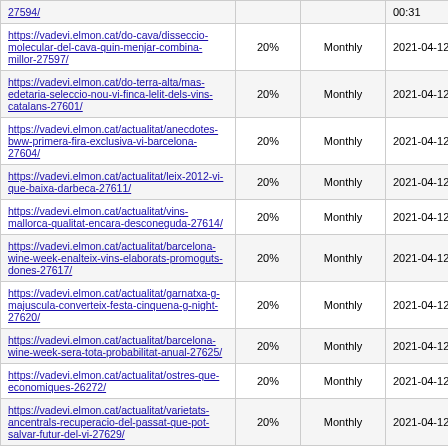| URL | Priority | Change Frequency | Last Modified |
| --- | --- | --- | --- |
| 27594/ | 20% | Monthly | 2021-04-12 00:31 |
| https://vadevi.elmon.cat/do-cava/disseccio-molecular-del-cava-quin-menjar-combina-millor-27597/ | 20% | Monthly | 2021-04-12 00:31 |
| https://vadevi.elmon.cat/do-terra-alta/mas-edetaria-seleccio-nou-vi-finca-lelit-dels-vins-catalans-27601/ | 20% | Monthly | 2021-04-12 00:31 |
| https://vadevi.elmon.cat/actualitat/anecdotes-bww-primera-fira-exclusiva-vi-barcelona-27604/ | 20% | Monthly | 2021-04-12 00:32 |
| https://vadevi.elmon.cat/actualitat/leix-2012-vi-que-baixa-darbeca-27611/ | 20% | Monthly | 2021-04-12 00:32 |
| https://vadevi.elmon.cat/actualitat/vins-mallorca-qualitat-encara-desconeguda-27614/ | 20% | Monthly | 2021-04-12 00:32 |
| https://vadevi.elmon.cat/actualitat/barcelona-wine-week-enalteix-vins-elaborats-promoguts-dones-27617/ | 20% | Monthly | 2021-04-12 00:32 |
| https://vadevi.elmon.cat/actualitat/garnatxa-g-majuscula-converteix-festa-cinquena-g-night-27620/ | 20% | Monthly | 2021-04-12 00:32 |
| https://vadevi.elmon.cat/actualitat/barcelona-wine-week-sera-tota-probabilitat-anual-27625/ | 20% | Monthly | 2021-04-12 00:32 |
| https://vadevi.elmon.cat/actualitat/ostres-que-economiques-26272/ | 20% | Monthly | 2021-04-12 00:09 |
| https://vadevi.elmon.cat/actualitat/varietats-ancentrals-recuperacio-del-passat-que-pot-salvar-futur-del-vi-27629/ | 20% | Monthly | 2021-04-12 00:32 |